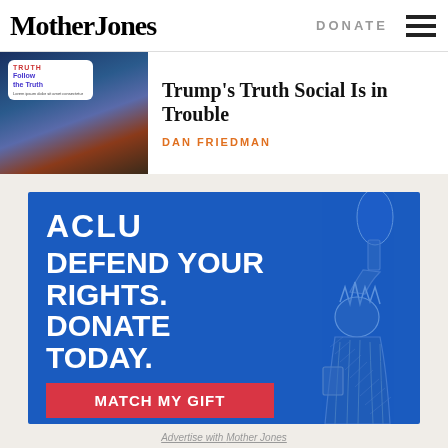Mother Jones
DONATE
[Figure (photo): Smartphone showing Truth Social app with Follow the Truth screen, Trump in background]
Trump's Truth Social Is in Trouble
DAN FRIEDMAN
[Figure (illustration): ACLU advertisement banner: ACLU | DEFEND YOUR RIGHTS. DONATE TODAY. | MATCH MY GIFT button | Statue of Liberty illustration on right side]
Advertise with Mother Jones